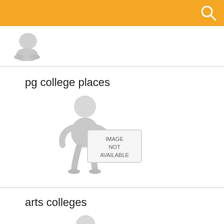[Figure (illustration): Partial image visible at top, cut off by orange header bar]
pg college places
[Figure (illustration): 3D figure of a person holding a sign that reads IMAGE NOT AVAILABLE]
arts colleges
[Figure (illustration): 3D figure of a person holding a sign that reads IMAGE NOT AVAILABLE, partially visible at bottom]